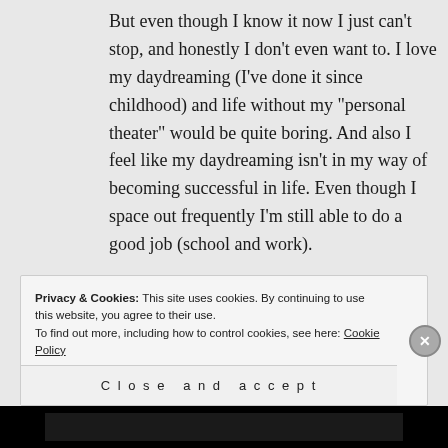But even though I know it now I just can't stop, and honestly I don't even want to. I love my daydreaming (I've done it since childhood) and life without my "personal theater" would be quite boring. And also I feel like my daydreaming isn't in my way of becoming successful in life. Even though I space out frequently I'm still able to do a good job (school and work).
★ Like
Privacy & Cookies: This site uses cookies. By continuing to use this website, you agree to their use. To find out more, including how to control cookies, see here: Cookie Policy
Close and accept